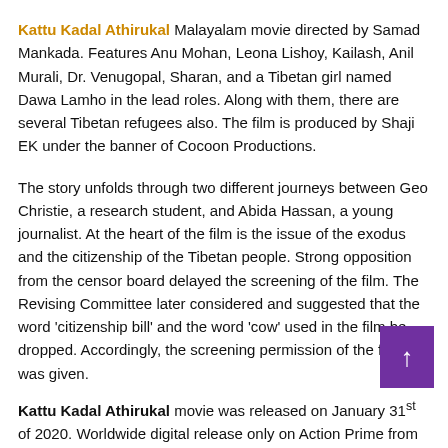Kattu Kadal Athirukal Malayalam movie directed by Samad Mankada. Features Anu Mohan, Leona Lishoy, Kailash, Anil Murali, Dr. Venugopal, Sharan, and a Tibetan girl named Dawa Lamho in the lead roles. Along with them, there are several Tibetan refugees also. The film is produced by Shaji EK under the banner of Cocoon Productions.
The story unfolds through two different journeys between Geo Christie, a research student, and Abida Hassan, a young journalist. At the heart of the film is the issue of the exodus and the citizenship of the Tibetan people. Strong opposition from the censor board delayed the screening of the film. The Revising Committee later considered and suggested that the word 'citizenship bill' and the word 'cow' used in the film be dropped. Accordingly, the screening permission of the film was given.
Kattu Kadal Athirukal movie was released on January 31st of 2020. Worldwide digital release only on Action Prime from 19th August